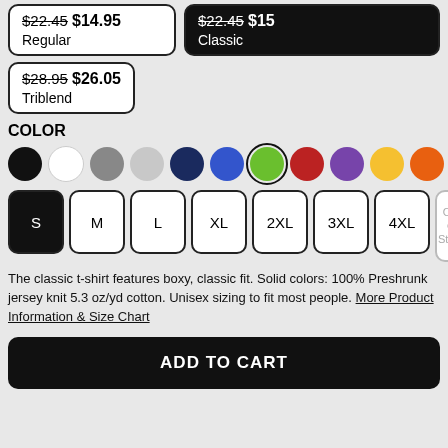$22.45 $14.95 Regular
$22.45 $15 Classic
$28.95 $26.05 Triblend
COLOR
[Figure (other): Color swatches: black, white, gray, light gray, navy, blue, green (selected), red, purple, yellow, orange]
[Figure (other): Size buttons: S (selected/black), M, L, XL, 2XL, 3XL, 4XL, 5XL (Out of Stock)]
The classic t-shirt features boxy, classic fit. Solid colors: 100% Preshrunk jersey knit 5.3 oz/yd cotton. Unisex sizing to fit most people. More Product Information & Size Chart
ADD TO CART